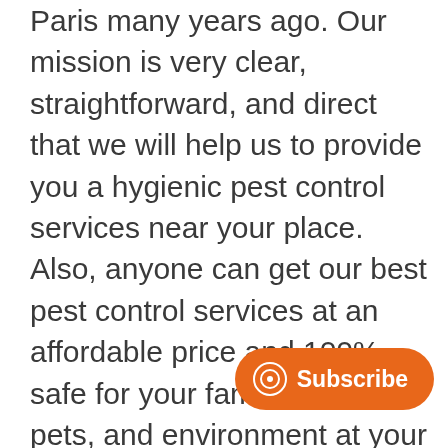Paris many years ago. Our mission is very clear, straightforward, and direct that we will help us to provide you a hygienic pest control services near your place. Also, anyone can get our best pest control services at an affordable price and 100% safe for your family member, pets, and environment at your places. EcoFriendlyPests continuously provide organic pest control solutions through our best and experienced pest control technicians team.
EcoFriendlyPests is an in-house pest control experts team who has been m... experience, expertise in his field, and the most...